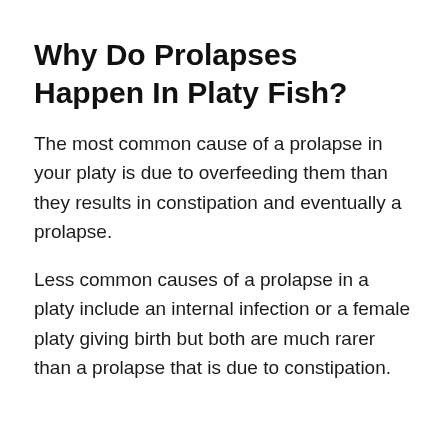Why Do Prolapses Happen In Platy Fish?
The most common cause of a prolapse in your platy is due to overfeeding them than they results in constipation and eventually a prolapse.
Less common causes of a prolapse in a platy include an internal infection or a female platy giving birth but both are much rarer than a prolapse that is due to constipation.